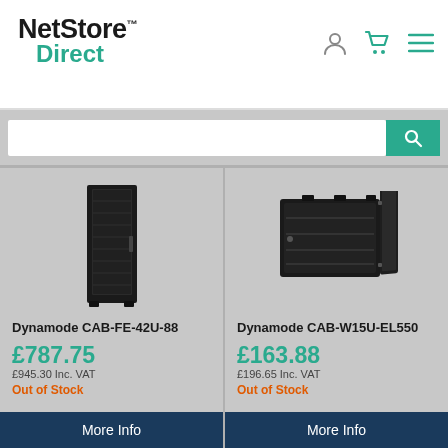[Figure (logo): NetStore Direct logo — bold black 'NetStore' with trademark symbol and teal 'Direct' below]
[Figure (screenshot): E-commerce product listing page showing two server rack cabinets with prices and availability]
Dynamode CAB-FE-42U-88
£787.75
£945.30 Inc. VAT
Out of Stock
More Info
Dynamode CAB-W15U-EL550
£163.88
£196.65 Inc. VAT
Out of Stock
More Info